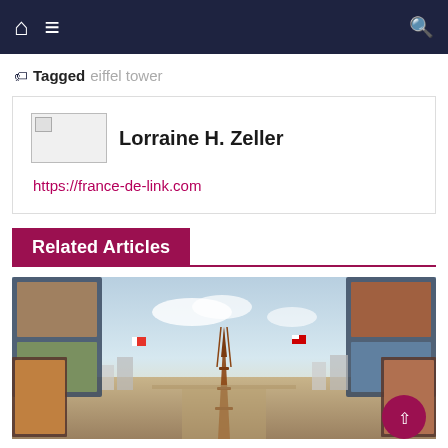Navigation bar with home, menu, and search icons
Tagged eiffel tower
Lorraine H. Zeller
https://france-de-link.com
Related Articles
[Figure (illustration): Vintage postcard collage illustration featuring the Eiffel Tower, Paris cityscape, and international flags arranged in an arch pattern]